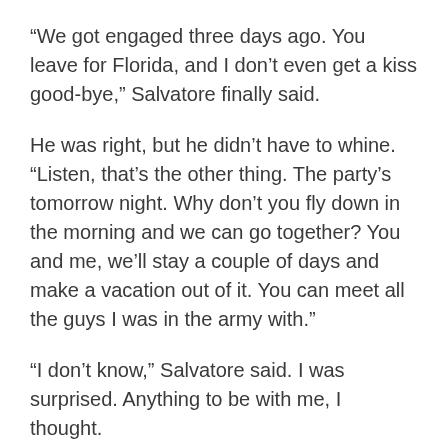“We got engaged three days ago. You leave for Florida, and I don’t even get a kiss good-bye,” Salvatore finally said.
He was right, but he didn’t have to whine. “Listen, that’s the other thing. The party’s tomorrow night. Why don’t you fly down in the morning and we can go together? You and me, we’ll stay a couple of days and make a vacation out of it. You can meet all the guys I was in the army with.”
“I don’t know,” Salvatore said. I was surprised. Anything to be with me, I thought.
“Come on, you could even fly down tonight, beat me there. Find us a motel with a pool. Go to the party together.”